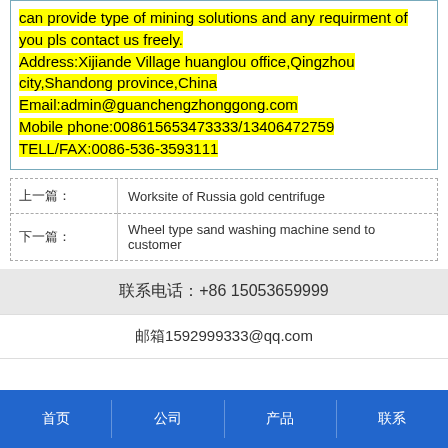can provide type of mining solutions and any requirment of you pls contact us freely. Address:Xijiande Village huanglou office,Qingzhou city,Shandong province,China Email:admin@guanchengzhonggong.com Mobile phone:008615653473333/13406472759 TELL/FAX:0086-536-3593111
| 上一篇: | Worksite of Russia gold centrifuge |
| 下一篇: | Wheel type sand washing machine send to customer |
联系电话:+86 15053659999
邮箱1592999333@qq.com
首页  公司  产品  联系